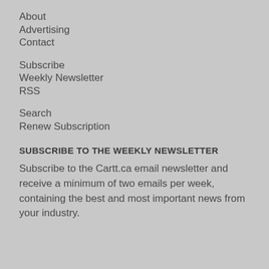About
Advertising
Contact
Subscribe
Weekly Newsletter
RSS
Search
Renew Subscription
SUBSCRIBE TO THE WEEKLY NEWSLETTER
Subscribe to the Cartt.ca email newsletter and receive a minimum of two emails per week, containing the best and most important news from your industry.